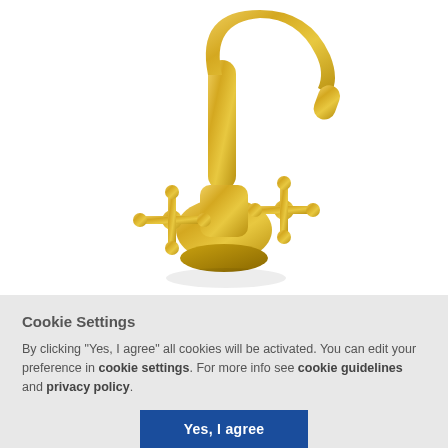[Figure (photo): A gold/brass vintage-style kitchen faucet with a tall gooseneck spout and two cross handles, photographed on a white background.]
Cookie Settings
By clicking "Yes, I agree" all cookies will be activated. You can edit your preference in cookie settings. For more info see cookie guidelines and privacy policy.